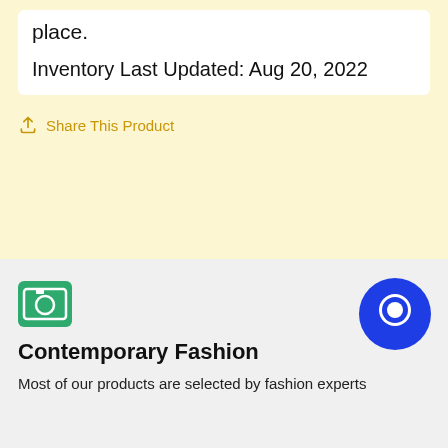place.
Inventory Last Updated: Aug 20, 2022
Share This Product
[Figure (logo): Green camera icon on green rounded rectangle background]
Contemporary Fashion
Most of our products are selected by fashion experts
[Figure (illustration): Blue circular chat bubble icon in bottom right corner]